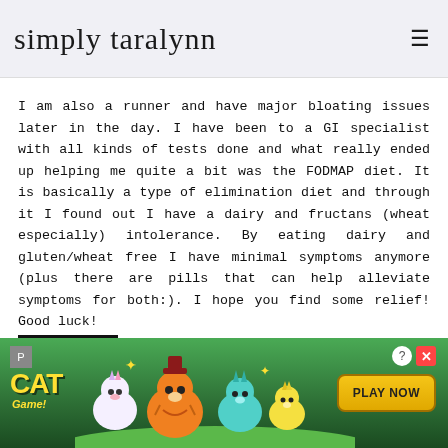simply taralynn
I am also a runner and have major bloating issues later in the day. I have been to a GI specialist with all kinds of tests done and what really ended up helping me quite a bit was the FODMAP diet. It is basically a type of elimination diet and through it I found out I have a dairy and fructans (wheat especially) intolerance. By eating dairy and gluten/wheat free I have minimal symptoms anymore (plus there are pills that can help alleviate symptoms for both:). I hope you find some relief! Good luck!
[Figure (illustration): Cat Game advertisement banner with cartoon cats, green background, and PLAY NOW button]